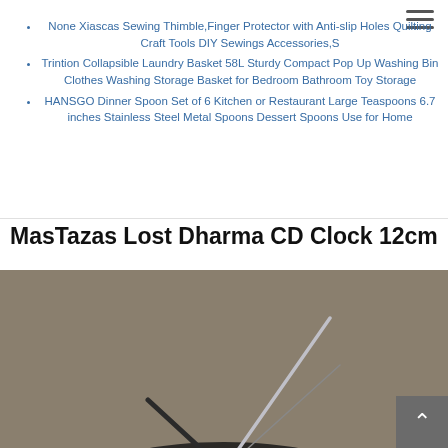None Xiascas Sewing Thimble,Finger Protector with Anti-slip Holes Quilting Craft Tools DIY Sewings Accessories,S
Trintion Collapsible Laundry Basket 58L Sturdy Compact Pop Up Washing Bin Clothes Washing Storage Basket for Bedroom Bathroom Toy Storage
HANSGO Dinner Spoon Set of 6 Kitchen or Restaurant Large Teaspoons 6.7 inches Stainless Steel Metal Spoons Dessert Spoons Use for Home
MasTazas Lost Dharma CD Clock 12cm
[Figure (photo): Product photo of a clock with metallic clock hands against a grey-brown background. The clock appears to be disc-shaped viewed at an angle showing the hands prominently.]